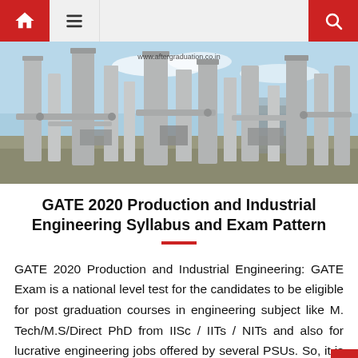Navigation bar with home, menu, and search icons
[Figure (photo): Industrial engineering facility with tall metal columns, pipes, and towers against a blue sky. Watermark: www.aftergraduation.co.in]
GATE 2020 Production and Industrial Engineering Syllabus and Exam Pattern
GATE 2020 Production and Industrial Engineering: GATE Exam is a national level test for the candidates to be eligible for post graduation courses in engineering subject like M. Tech/M.S/Direct PhD from IISc / IITs / NITs and also for lucrative engineering jobs offered by several PSUs. So, it is important for the Scie...